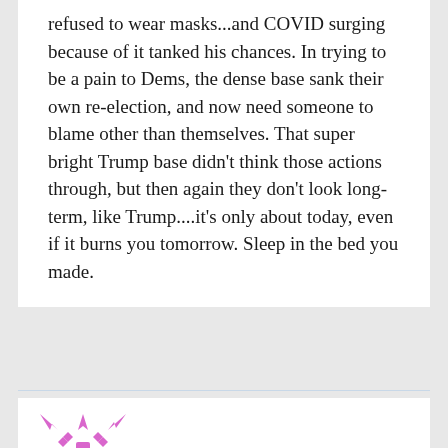refused to wear masks...and COVID surging because of it tanked his chances. In trying to be a pain to Dems, the dense base sank their own re-election, and now need someone to blame other than themselves. That super bright Trump base didn't think those actions through, but then again they don't look long-term, like Trump....it's only about today, even if it burns you tomorrow. Sleep in the bed you made.
[Figure (logo): Pink/magenta decorative snowflake or star-pattern avatar icon for a user comment]
fits... November 00, 0000 at 0:00...